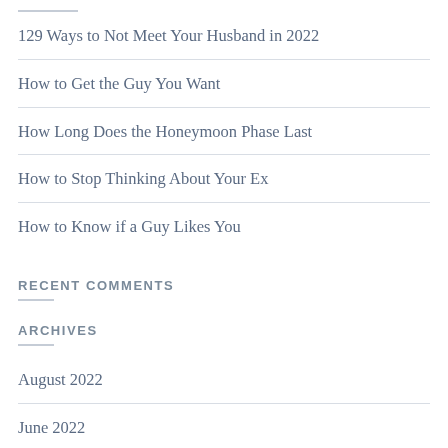129 Ways to Not Meet Your Husband in 2022
How to Get the Guy You Want
How Long Does the Honeymoon Phase Last
How to Stop Thinking About Your Ex
How to Know if a Guy Likes You
RECENT COMMENTS
ARCHIVES
August 2022
June 2022